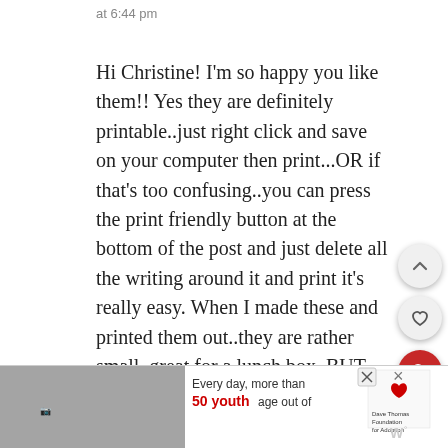at 6:44 pm
Hi Christine! I'm so happy you like them!! Yes they are definitely printable..just right click and save on your computer then print...OR if that's too confusing..you can press the print friendly button at the bottom of the post and just delete all the writing around it and print it's really easy. When I made these and printed them out..they are rather small..great for a lunch box..BUT I'm going to be making more and making them a little bigger 🙂 Just so
[Figure (infographic): Advertisement banner at bottom: black and white photo of person with hat, text 'Every day, more than 50 youth age out of', Dave Thomas Foundation for Adoption logo, close and X buttons]